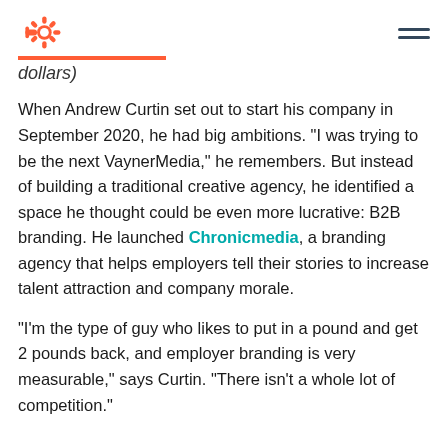HubSpot logo and navigation menu
dollars)
When Andrew Curtin set out to start his company in September 2020, he had big ambitions. “I was trying to be the next VaynerMedia,” he remembers. But instead of building a traditional creative agency, he identified a space he thought could be even more lucrative: B2B branding. He launched Chronicmedia, a branding agency that helps employers tell their stories to increase talent attraction and company morale.
“I’m the type of guy who likes to put in a pound and get 2 pounds back, and employer branding is very measurable,” says Curtin. “There isn’t a whole lot of competition.”